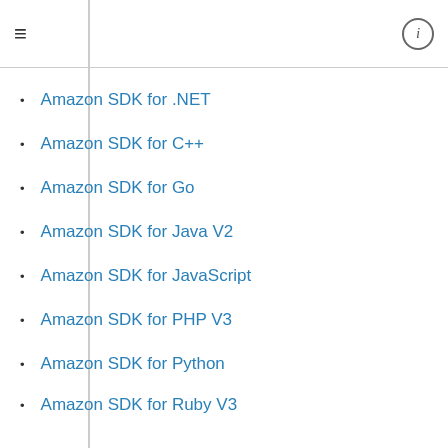Amazon SDK for .NET
Amazon SDK for C++
Amazon SDK for Go
Amazon SDK for Java V2
Amazon SDK for JavaScript
Amazon SDK for PHP V3
Amazon SDK for Python
Amazon SDK for Ruby V3
TerminateClientVpnConnections
StartVpcEndpointServicePrivateDnsVerification
|